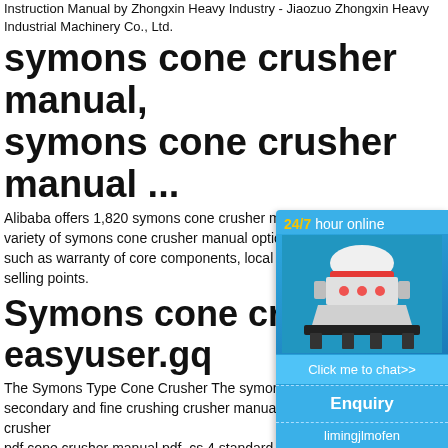Instruction Manual by Zhongxin Heavy Industry - Jiaozuo Zhongxin Heavy Industrial Machinery Co., Ltd.
symons cone crusher manual, symons cone crusher manual ...
Alibaba offers 1,820 symons cone crusher manual products. A wide variety of symons cone crusher manual options are available to you, such as warranty of core components, local service location, and key selling points.
Symons cone crusher manual - easyuser.gq
The Symons Type Cone Crusher The symons cone crusher is widely used for secondary and fine crushing ... crusher manual / Mining and Cone crusher manual pdf,cone crusher manual pdf. cs 4 standard cone crusher manual,jaw crusher Read More;.The Symons cone crusher is normally applied as a secondary ...
Replacing the Symons
[Figure (infographic): Ad widget with blue background showing a cone crusher machine, '24/7 hour online' header text in white with yellow bold '24/7', 'Click me to chat>>' button, 'Enquiry' section, and 'limingjlmofen' contact text.]